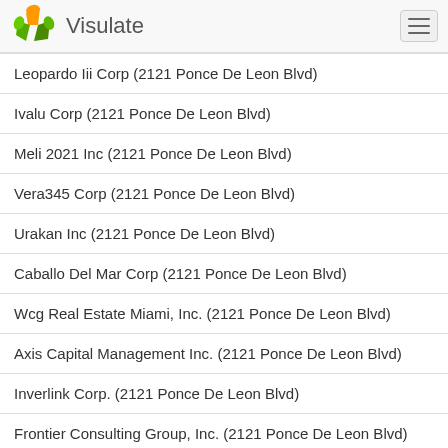Visulate
Leopardo Iii Corp (2121 Ponce De Leon Blvd)
Ivalu Corp (2121 Ponce De Leon Blvd)
Meli 2021 Inc (2121 Ponce De Leon Blvd)
Vera345 Corp (2121 Ponce De Leon Blvd)
Urakan Inc (2121 Ponce De Leon Blvd)
Caballo Del Mar Corp (2121 Ponce De Leon Blvd)
Wcg Real Estate Miami, Inc. (2121 Ponce De Leon Blvd)
Axis Capital Management Inc. (2121 Ponce De Leon Blvd)
Inverlink Corp. (2121 Ponce De Leon Blvd)
Frontier Consulting Group, Inc. (2121 Ponce De Leon Blvd)